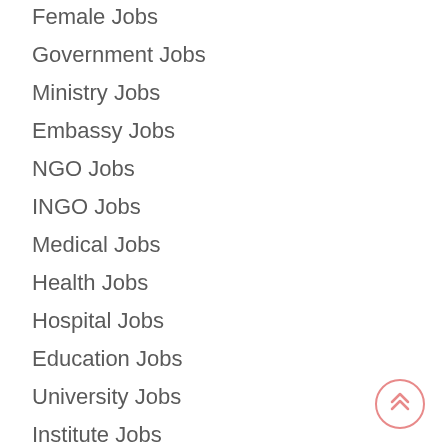Female Jobs
Government Jobs
Ministry Jobs
Embassy Jobs
NGO Jobs
INGO Jobs
Medical Jobs
Health Jobs
Hospital Jobs
Education Jobs
University Jobs
Institute Jobs
College Jobs
Banking Jobs
Agriculture Jobs
Computer Jobs